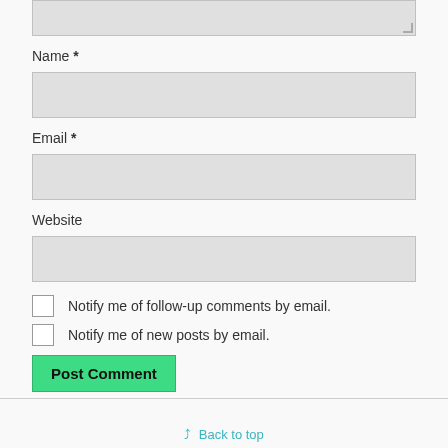[Figure (screenshot): Textarea input box (partially visible, top of page)]
Name *
[Figure (screenshot): Name input text field]
Email *
[Figure (screenshot): Email input text field]
Website
[Figure (screenshot): Website input text field]
Notify me of follow-up comments by email.
Notify me of new posts by email.
Post Comment
Back to top